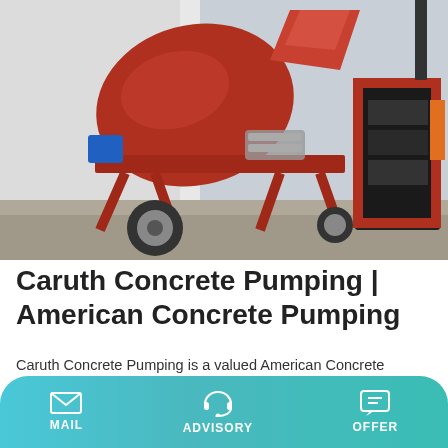[Figure (photo): A red concrete mixer/pump machine on a trailer outdoors, with a separate red power unit/engine assembly to the right, parked on a concrete surface near a white building.]
Caruth Concrete Pumping | American Concrete Pumping
Caruth Concrete Pumping is a valued American Concrete Pumpers Association member.
Learn More
MAIL   ADVISORY   OFFER